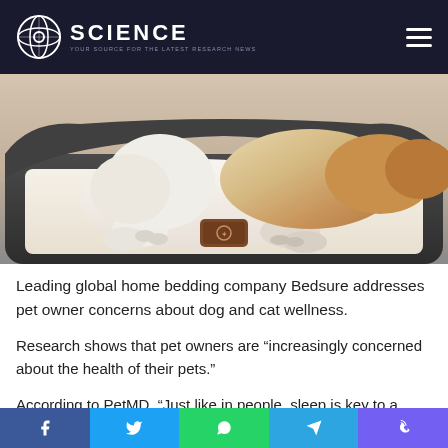SCIENCE — Your source for the latest research news
[Figure (photo): Dog lying in a gray orthopedic pet bed with cream-colored cushion, viewed from above showing paws and fur]
Leading global home bedding company Bedsure addresses pet owner concerns about dog and cat wellness.
Research shows that pet owners are “increasingly concerned about the health of their pets.”
According to PetMD, “Just like in people, sleep is key to a dog’s overall health.” Lack of sleep and sleep disorders
Social sharing bar: Facebook, Twitter, WhatsApp, Telegram, Viber